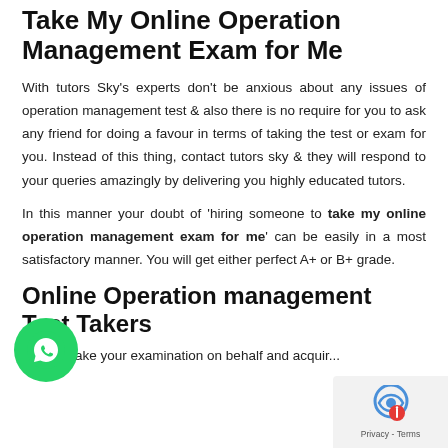Take My Online Operation Management Exam for Me
With tutors Sky's experts don't be anxious about any issues of operation management test & also there is no require for you to ask any friend for doing a favour in terms of taking the test or exam for you. Instead of this thing, contact tutors sky & they will respond to your queries amazingly by delivering you highly educated tutors.
In this manner your doubt of 'hiring someone to take my online operation management exam for me' can be easily in a most satisfactory manner. You will get either perfect A+ or B+ grade.
Online Operation management Test Takers
We can take your examination on behalf and acquir...